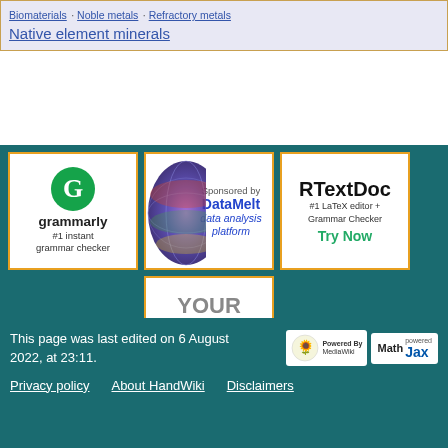Biomaterials · Noble metals · Refractory metals · Native element minerals
[Figure (other): Advertisement box for Grammarly - #1 instant grammar checker]
[Figure (other): Advertisement box: Sponsored by DataMelt data analysis platform]
[Figure (other): Advertisement box for RTextDoc - #1 LaTeX editor + Grammar Checker, Try Now]
[Figure (other): Advertisement placeholder: YOUR ADS HERE]
This page was last edited on 6 August 2022, at 23:11. Privacy policy  About HandWiki  Disclaimers